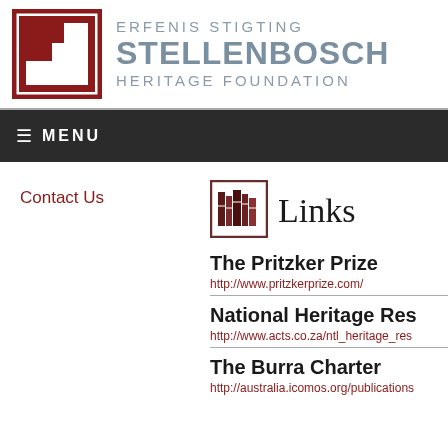[Figure (logo): Erfenis Stigting Stellenbosch Heritage Foundation logo with a stylized building/flag icon in dark red and a white square border]
ERFENIS STIGTING STELLENBOSCH HERITAGE FOUNDATION
≡ MENU
Contact Us
[Figure (logo): Books icon in a dark red bordered square box]
Links
The Pritzker Prize
http://www.pritzkerprize.com/
National Heritage Res
http://www.acts.co.za/ntl_heritage_res
The Burra Charter
http://australia.icomos.org/publications